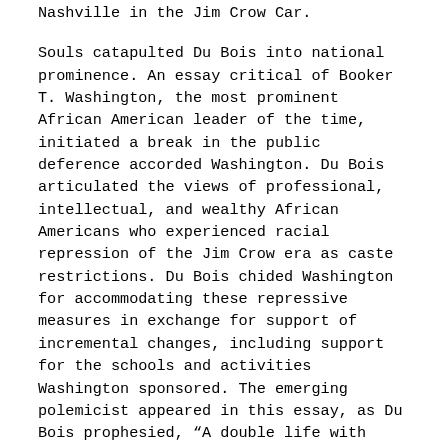Nashville in the Jim Crow Car.
Souls catapulted Du Bois into national prominence. An essay critical of Booker T. Washington, the most prominent African American leader of the time, initiated a break in the public deference accorded Washington. Du Bois articulated the views of professional, intellectual, and wealthy African Americans who experienced racial repression of the Jim Crow era as caste restrictions. Du Bois chided Washington for accommodating these repressive measures in exchange for support of incremental changes, including support for the schools and activities Washington sponsored. The emerging polemicist appeared in this essay, as Du Bois prophesied, “A double life with double thoughts, double duties, and double social classes must give rise to double words and double ideals, and tempt the mind to pretense or revolt, to hypocrisy or radicalism.”